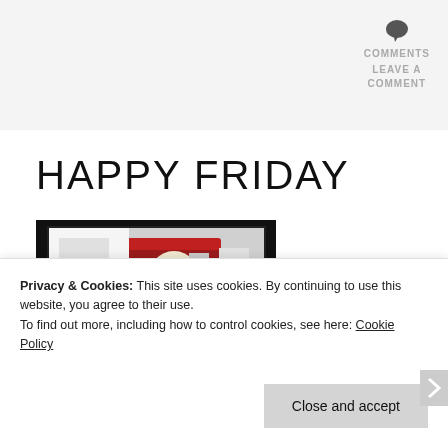COMMENTS LEAVE A COMMENT
HAPPY FRIDAY
[Figure (photo): A photo showing a KFC bucket with Colonel Sanders branding, dark bordered image]
Privacy & Cookies: This site uses cookies. By continuing to use this website, you agree to their use.
To find out more, including how to control cookies, see here: Cookie Policy
Close and accept